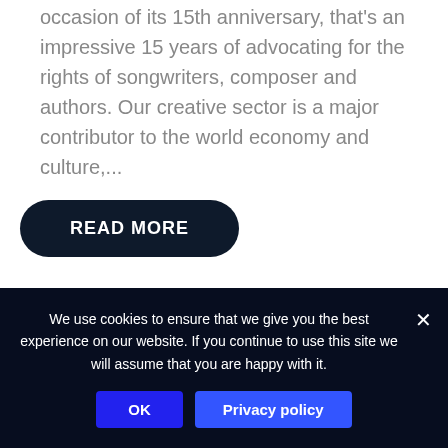occasion of its 15th anniversary, that's an impressive 15 years of advocating for the rights of songwriters, composer and authors. Our creative sector is a major contributor to the world economy and culture,...
READ MORE
We use cookies to ensure that we give you the best experience on our website. If you continue to use this site we will assume that you are happy with it.
OK
Privacy policy